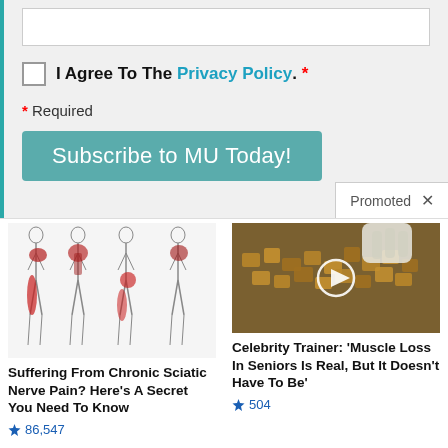I Agree To The Privacy Policy. *
* Required
Subscribe to MU Today!
Promoted
[Figure (illustration): Medical illustration showing four body outlines with red highlighted areas indicating sciatic nerve pain locations on legs and hips]
Suffering From Chronic Sciatic Nerve Pain? Here's A Secret You Need To Know
86,547
[Figure (photo): Photo of small brown food cubes/pieces on a dark surface with a gloved hand, with a video play button overlay]
Celebrity Trainer: 'Muscle Loss In Seniors Is Real, But It Doesn't Have To Be'
504